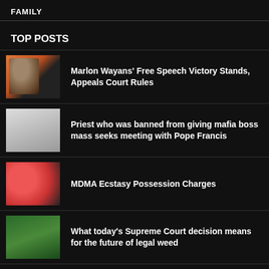FAMILY
TOP POSTS
Marlon Wayans' Free Speech Victory Stands, Appeals Court Rules
Priest who was banned from giving mafia boss mass seeks meeting with Pope Francis
MDMA Ecstasy Possession Charges
What today's Supreme Court decision means for the future of legal weed
Paramore, former bassist embroiled in legal battle